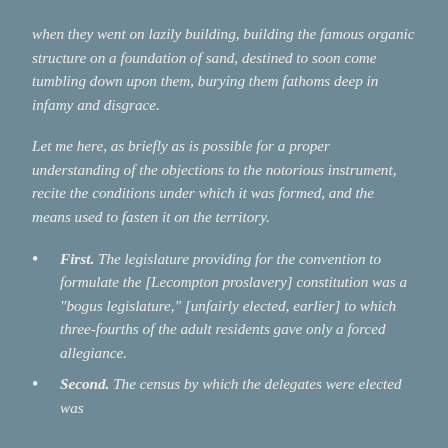when they went on lazily building, building the famous organic structure on a foundation of sand, destined to soon come tumbling down upon them, burying them fathoms deep in infamy and disgrace.
Let me here, as briefly as is possible for a proper understanding of the objections to the notorious instrument, recite the conditions under which it was formed, and the means used to fasten it on the territory.
First. The legislature providing for the convention to formulate the [Lecompton proslavery] constitution was a "bogus legislature," [unfairly elected, earlier] to which three-fourths of the adult residents gave only a forced allegiance.
Second. The census by which the delegates were elected was